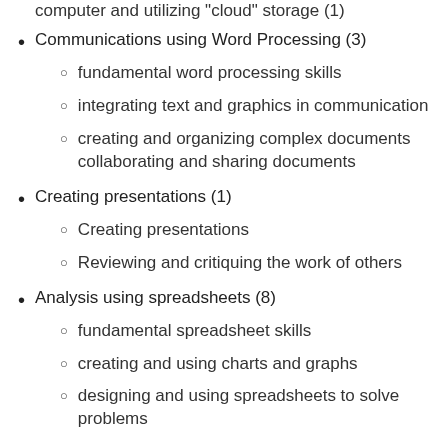Organizing and managing files and folders on your computer and utilizing "cloud" storage (1)
Communications using Word Processing (3)
fundamental word processing skills
integrating text and graphics in communication
creating and organizing complex documents collaborating and sharing documents
Creating presentations (1)
Creating presentations
Reviewing and critiquing the work of others
Analysis using spreadsheets (8)
fundamental spreadsheet skills
creating and using charts and graphs
designing and using spreadsheets to solve problems